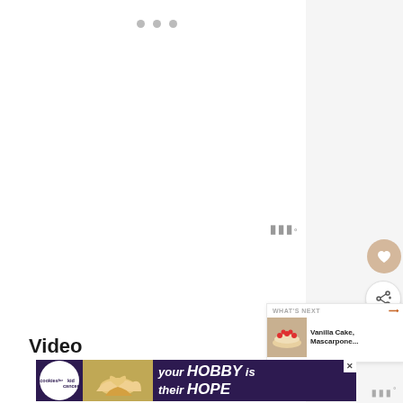[Figure (screenshot): Slideshow dot navigation indicator — three grey dots]
[Figure (screenshot): Favourite (heart) button — circular tan/beige button with white heart icon]
[Figure (screenshot): Share button — circular white button with share icon (arrow with plus)]
[Figure (screenshot): What's Next panel showing a food image of Vanilla Cake, Mascarpone... with header WHAT'S NEXT →]
Video
[Figure (screenshot): Advertisement banner: cookies for kid cancer logo, heart-shaped cookie image, text 'your HOBBY is their HOPE' on purple background, with close button X]